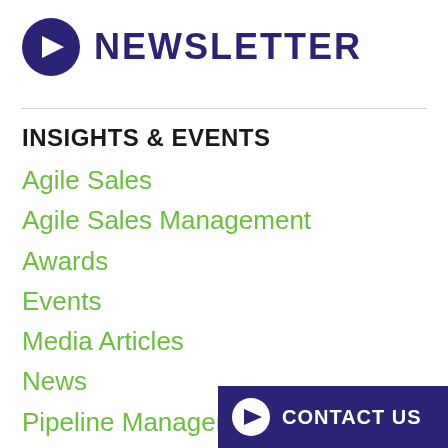NEWSLETTER
INSIGHTS & EVENTS
Agile Sales
Agile Sales Management
Awards
Events
Media Articles
News
Pipeline Management & Forecasting
[Figure (logo): Purple circle with white right-arrow icon — Newsletter logo]
[Figure (logo): White circle with purple right-arrow icon inside dark purple Contact Us button]